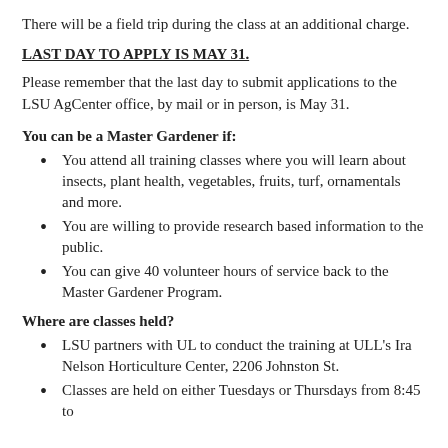There will be a field trip during the class at an additional charge.
LAST DAY TO APPLY IS MAY 31.
Please remember that the last day to submit applications to the LSU AgCenter office, by mail or in person, is May 31.
You can be a Master Gardener if:
You attend all training classes where you will learn about insects, plant health, vegetables, fruits, turf, ornamentals and more.
You are willing to provide research based information to the public.
You can give 40 volunteer hours of service back to the Master Gardener Program.
Where are classes held?
LSU partners with UL to conduct the training at ULL's Ira Nelson Horticulture Center, 2206 Johnston St.
Classes are held on either Tuesdays or Thursdays from 8:45 to